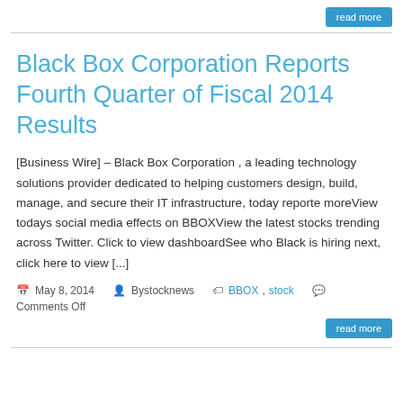read more
Black Box Corporation Reports Fourth Quarter of Fiscal 2014 Results
[Business Wire] – Black Box Corporation , a leading technology solutions provider dedicated to helping customers design, build, manage, and secure their IT infrastructure, today reporte moreView todays social media effects on BBOXView the latest stocks trending across Twitter. Click to view dashboardSee who Black is hiring next, click here to view [...]
May 8, 2014  Bystocknews  BBOX, stock  Comments Off  read more